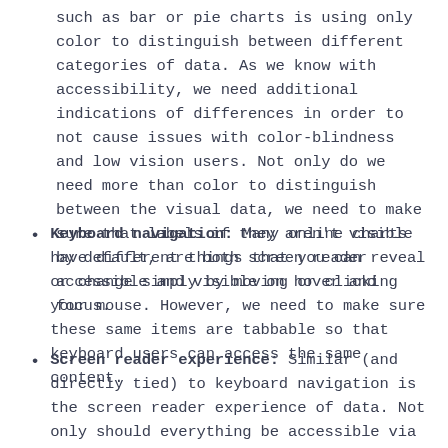such as bar or pie charts is using only color to distinguish between different categories of data. As we know with accessibility, we need additional indications of differences in order to not cause issues with color-blindness and low vision users. Not only do we need more than color to distinguish between the visual data, we need to make sure that labels if they aren't visible by default, are both screen reader accessible and visible on hover and focus.
Keyboard navigation: Many online charts have different things that you can reveal or change simply by moving or clicking your mouse. However, we need to make sure these same items are tabbable so that keyboard users can access the same content.
Screen reader experience: Similar (and directly tied) to keyboard navigation is the screen reader experience of data. Not only should everything be accessible via keyboard, it should be in a logical order. If everything is out of order for a screen reader, the data becomes convoluted and won't make